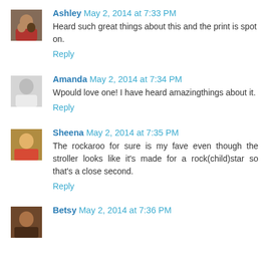Ashley May 2, 2014 at 7:33 PM
Heard such great things about this and the print is spot on.
Reply
Amanda May 2, 2014 at 7:34 PM
Wpould love one! I have heard amazingthings about it.
Reply
Sheena May 2, 2014 at 7:35 PM
The rockaroo for sure is my fave even though the stroller looks like it's made for a rock(child)star so that's a close second.
Reply
Betsy May 2, 2014 at 7:36 PM